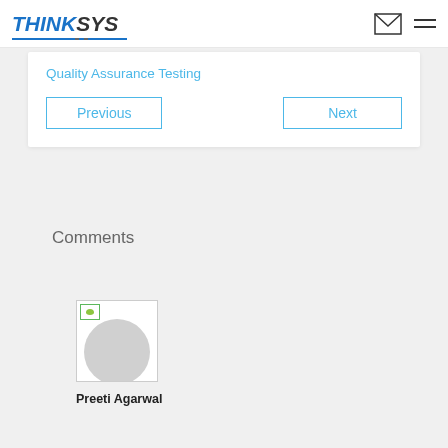THINKSYS
Quality Assurance Testing
Previous | Next
Comments
[Figure (photo): Avatar/profile image placeholder with broken image icon and circular grey background]
Preeti Agarwal